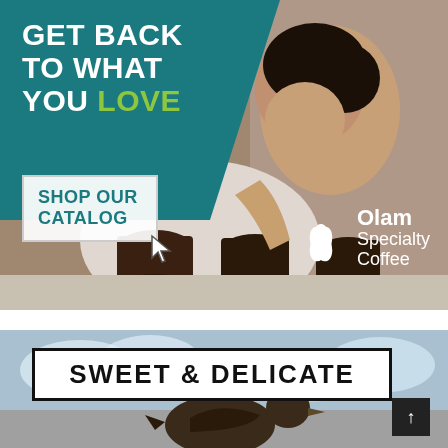[Figure (photo): Advertisement banner showing a woman smelling or tasting coffee from cups on a table, with a teal/green shape overlay in upper left containing headline text. Shows 'GET BACK TO WHAT YOU LOVE' headline, 'SHOP OUR CATALOG' button with cursor icon, and Olam Specialty Coffee logo.]
[Figure (photo): Second advertisement banner showing 'SWEET & DELICATE' text in a black-bordered white box, with a bird silhouette below against a sky background, and a dark scroll/up arrow button on the right.]